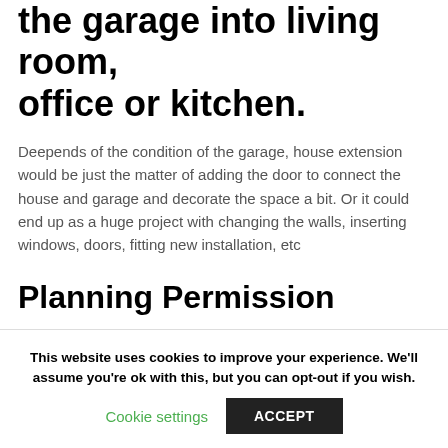the garage into living room, office or kitchen.
Deepends of the condition of the garage, house extension would be just the matter of adding the door to connect the house and garage and decorate the space a bit. Or it could end up as a huge project with changing the walls, inserting windows, doors, fitting new installation, etc
Planning Permission
Depends of the type of the garage we already have, we may need to obtain planning permission. It is always good to contact local authority for advice. You can always have a
This website uses cookies to improve your experience. We'll assume you're ok with this, but you can opt-out if you wish.
Cookie settings   ACCEPT